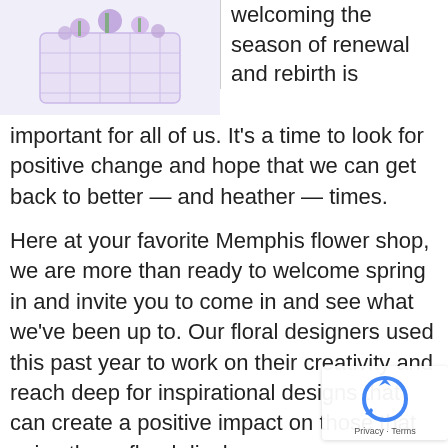[Figure (photo): A floral arrangement with purple/lavender flowers in a decorative container, partially visible at top left of page.]
welcoming the season of renewal and rebirth is important for all of us. It’s a time to look for positive change and hope that we can get back to better — and heather — times.
Here at your favorite Memphis flower shop, we are more than ready to welcome spring in and invite you to come in and see what we’ve been up to. Our floral designers used this past year to work on their creativity and reach deep for inspirational designs that can create a positive impact on those that enjoy these floral displays.
We are so happy to welcome spring floral favorites from our trusted local, national, and international flower partners. This includes tulips, daisies, hydrangea, ranunculus, roses, lilies, and more.